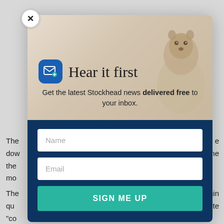The
dow
the
mo
The
qu
“co
the
of c
[Figure (screenshot): A popup modal for newsletter signup. Contains a groundhog/prairie dog photo background, mail icon, title 'Hear it first', subtitle 'Get the latest Stockhead news delivered free to your inbox.', Name and Email input fields, and a teal 'SIGN ME UP' button. Has a close X button in the top left corner. The modal is overlaid on a partially visible article page.]